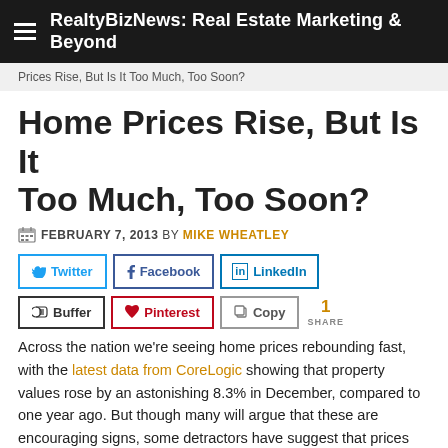RealtyBizNews: Real Estate Marketing & Beyond
Prices Rise, But Is It Too Much, Too Soon?
Home Prices Rise, But Is It Too Much, Too Soon?
FEBRUARY 7, 2013 BY MIKE WHEATLEY
Twitter Facebook LinkedIn Buffer Pinterest Copy — 1 SHARE
Across the nation we're seeing home prices rebounding fast, with the latest data from CoreLogic showing that property values rose by an astonishing 8.3% in December, compared to one year ago. But though many will argue that these are encouraging signs, some detractors have suggest that prices may actually be rising too fast, giving rise to the possibility of a "new bubble" emerging in some markets.